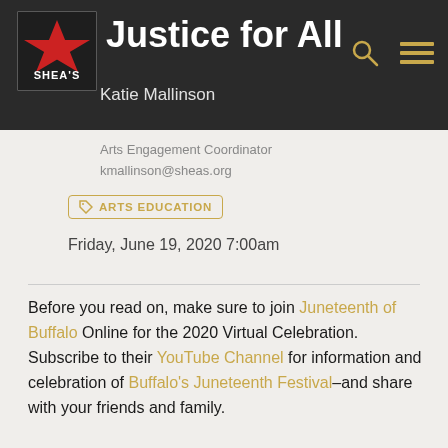Justice for All
[Figure (logo): Shea's logo: red star with SHEA'S text on dark background]
Katie Mallinson
Arts Engagement Coordinator
kmallinson@sheas.org
ARTS EDUCATION
Friday, June 19, 2020 7:00am
Before you read on, make sure to join Juneteenth of Buffalo Online for the 2020 Virtual Celebration. Subscribe to their YouTube Channel for information and celebration of Buffalo's Juneteenth Festival–and share with your friends and family.